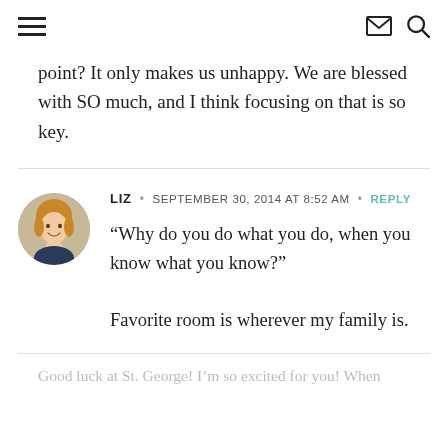navigation header with hamburger menu, envelope icon, and search icon
point? It only makes us unhappy. We are blessed with SO much, and I think focusing on that is so key.
LIZ • SEPTEMBER 30, 2014 AT 8:52 AM • REPLY
“Why do you do what you do, when you know what you know?”

Favorite room is wherever my family is.
Good luck at St. George! I’m so excited for you! When